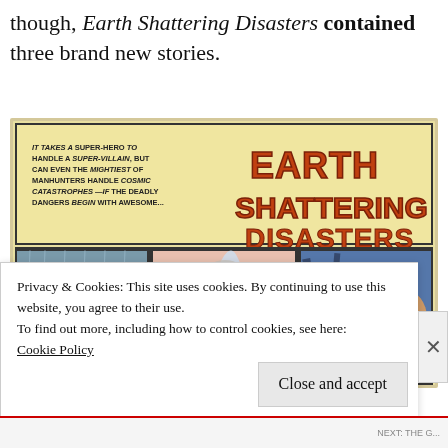though, Earth Shattering Disasters contained three brand new stories.
[Figure (illustration): Comic book cover/splash page for 'Earth Shattering Disasters' showing three panels: a superhero (Batman-like figure) in rain/disaster scene, a large water geyser/explosion, and a woman looking at a destroyed cityscape. The top banner reads 'IT TAKES A SUPER-HERO TO HANDLE A SUPER-VILLAIN, BUT CAN EVEN THE MIGHTIEST OF MANHUNTERS HANDLE COSMIC CATASTROPHES -- IF THE DEADLY DANGERS BEGIN WITH AWESOME...' alongside large orange-red block letters reading 'EARTH SHATTERING DISASTERS']
Privacy & Cookies: This site uses cookies. By continuing to use this website, you agree to their use.
To find out more, including how to control cookies, see here:
Cookie Policy
Close and accept